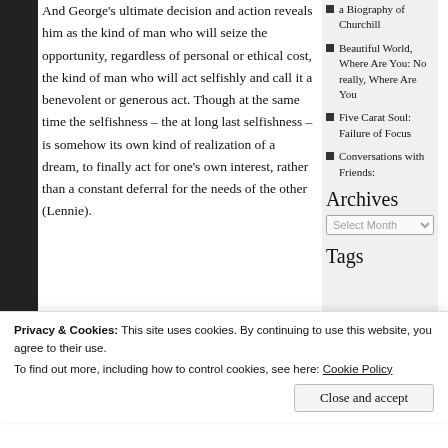And George's ultimate decision and action reveals him as the kind of man who will seize the opportunity, regardless of personal or ethical cost, the kind of man who will act selfishly and call it a benevolent or generous act. Though at the same time the selfishness – the at long last selfishness – is somehow its own kind of realization of a dream, to finally act for one's own interest, rather than a constant deferral for the needs of the other (Lennie).
So I think I need someone else in my immediate circle to read this one so I can
a Biography of Churchill
Beautiful World, Where Are You: No really, Where Are You
Five Carat Soul: Failure of Focus
Conversations with Friends:
Archives
Tags
Privacy & Cookies: This site uses cookies. By continuing to use this website, you agree to their use.
To find out more, including how to control cookies, see here: Cookie Policy